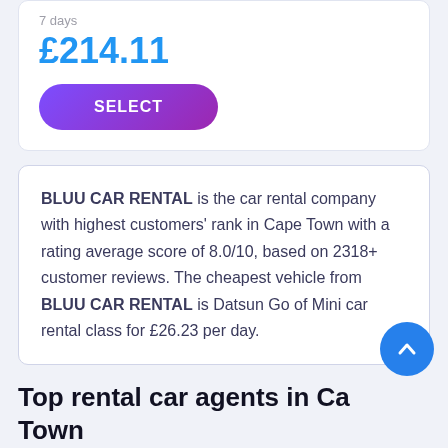7 days
£214.11
SELECT
BLUU CAR RENTAL is the car rental company with highest customers' rank in Cape Town with a rating average score of 8.0/10, based on 2318+ customer reviews. The cheapest vehicle from BLUU CAR RENTAL is Datsun Go of Mini car rental class for £26.23 per day.
Top rental car agents in Cape Town